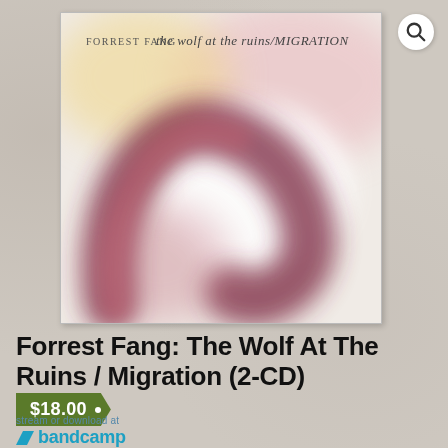[Figure (photo): Album cover art for Forrest Fang: The Wolf At The Ruins / Migration. Light pinkish-white background with a blurred dark reddish-purple curved shape forming an arc. Text at top reads 'FORREST FANG the wolf at the ruins/MIGRATION' in stylized font.]
Forrest Fang: The Wolf At The Ruins / Migration (2-CD)
$18.00
stream or download at bandcamp